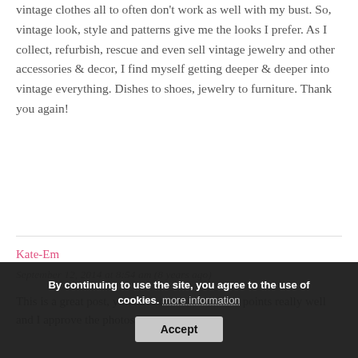vintage clothes all to often don't work as well with my bust. So, vintage look, style and patterns give me the looks I prefer. As I collect, refurbish, rescue and even sell vintage jewelry and other accessories & decor, I find myself getting deeper & deeper into vintage everything. Dishes to shoes, jewelry to furniture. Thank you again!
Kate-Em
September 12, 2014 at 8:54 am (8 years ago)
This is a great post, you have covered all these points really well and I approve the photos too.
By continuing to use the site, you agree to the use of cookies. more information Accept